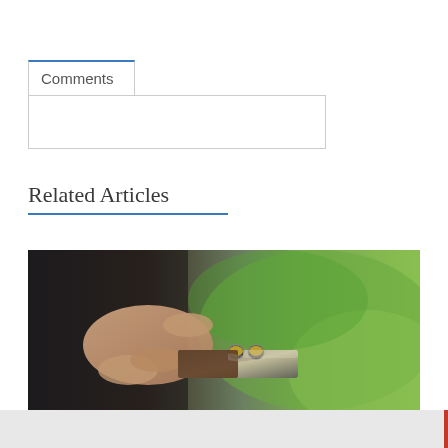Comments
Related Articles
[Figure (photo): A person loading or handling a double-barrel shotgun, close-up of hands and the gun's breach/action, with green foliage in the background]
...russian and Russian citizens have registered guns in Latvia...